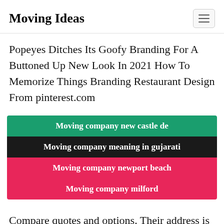Moving Ideas
Popeyes Ditches Its Goofy Branding For A Buttoned Up New Look In 2021 How To Memorize Things Branding Restaurant Design From pinterest.com
Moving company new castle de
Moving company meaning in gujarati
Moving company newport beach
Moving company milford
Compare quotes and options. Their address is 251 W Tropical Way Fort Lauderdale FL.